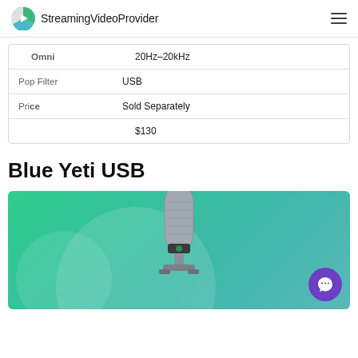StreamingVideoProvider
| Omni | 20Hz–20kHz |
| Pop Filter | USB |
| Price | Sold Separately |
|  | $130 |
Blue Yeti USB
[Figure (photo): Blue Yeti USB microphone on a green-teal gradient background with a purple chat button in the bottom right corner]